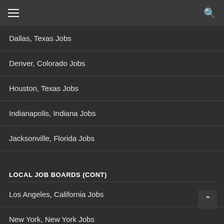Menu | Search
Dallas, Texas Jobs
Denver, Colorado Jobs
Houston, Texas Jobs
Indianapolis, Indiana Jobs
Jacksonville, Florida Jobs
LOCAL JOB BOARDS (CONT)
Los Angeles, California Jobs
New York, New York Jobs
Philadelphia, Pennsylvania Jobs
San Antonio, Texas Jobs